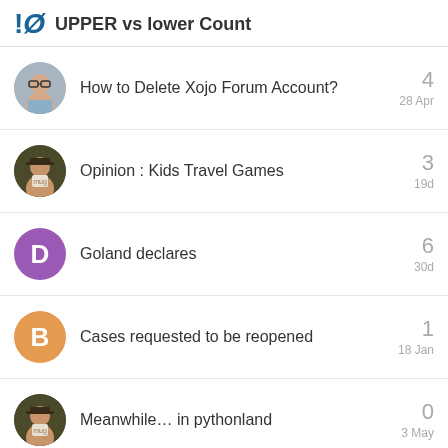!Ø UPPER vs lower Count
How to Delete Xojo Forum Account? — 4 — 28 Apr
Opinion : Kids Travel Games — 3 — 19d
Goland declares — 6 — 30d
Cases requested to be reopened — 1 — 18 Jan
Meanwhile… in pythonland — 0 — 3 May
Want to read more? Browse all categories or view latest topics.